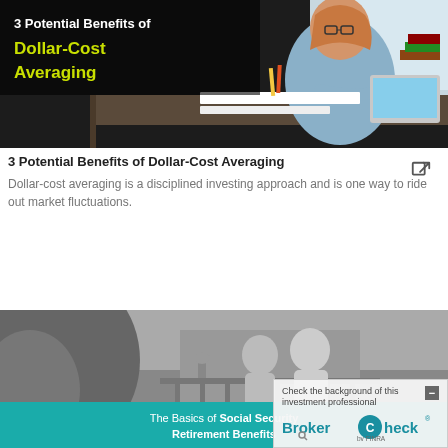[Figure (photo): Woman working at a desk with papers and laptop, dark background with title overlay: '3 Potential Benefits of Dollar-Cost Averaging' in white and yellow-green text]
3 Potential Benefits of Dollar-Cost Averaging
Dollar-cost averaging is a disciplined investing approach and is one way to ride out market fluctuations.
[Figure (photo): Black and white photo of couple on balcony, teal banner at bottom reading 'The Basics of Social Security Retirement Benefits', with BrokerCheck overlay widget in bottom right]